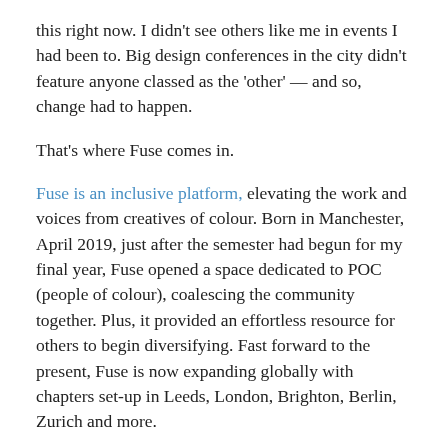this right now. I didn't see others like me in events I had been to. Big design conferences in the city didn't feature anyone classed as the 'other' — and so, change had to happen.
That's where Fuse comes in.
Fuse is an inclusive platform, elevating the work and voices from creatives of colour. Born in Manchester, April 2019, just after the semester had begun for my final year, Fuse opened a space dedicated to POC (people of colour), coalescing the community together. Plus, it provided an effortless resource for others to begin diversifying. Fast forward to the present, Fuse is now expanding globally with chapters set-up in Leeds, London, Brighton, Berlin, Zurich and more.